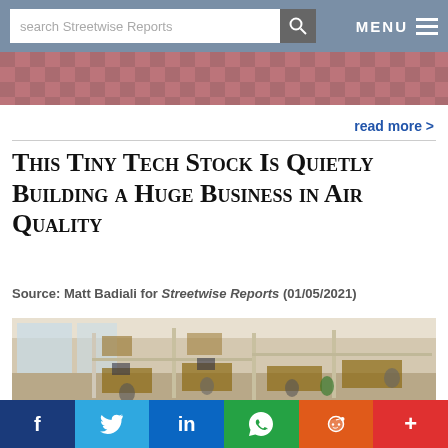search Streetwise Reports | MENU
[Figure (photo): Partial top banner image showing flag or decorative pattern]
read more >
This Tiny Tech Stock Is Quietly Building a Huge Business in Air Quality
Source: Matt Badiali for Streetwise Reports (01/05/2021)
[Figure (photo): Aerial view of an open-plan office with cubicles, workers at desks, bookshelves, and natural light]
f  t  in  WhatsApp  reddit  +